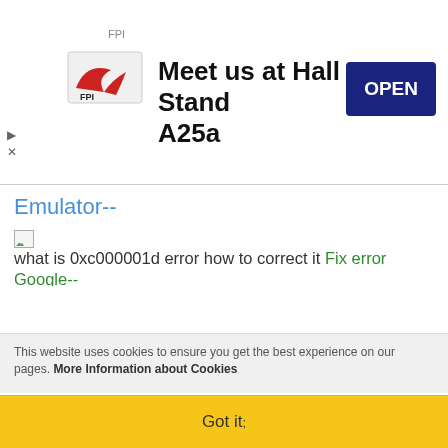[Figure (infographic): FPI advertisement banner: FPI logo on left, text 'Meet us at Hall 11 Stand A25a' in center, blue OPEN button on right]
Emulator--
[img] what is 0xc000001d error how to correct it Fix error Google-- [img] what how to correct it Blue Screen-- [img] what how to correct it Prog BIOS--
[img] Download Mod xxxx Use Google Play--
[img] Download Mod xxxx App not Responding--
[img] what how Android App Stopped--
[img] what how Android Pokemon Signal, --
[img] Cómo mantener sus datos seguros en 2021
This website uses cookies to ensure you get the best experience on our pages. More Information about Cookies
Got it;